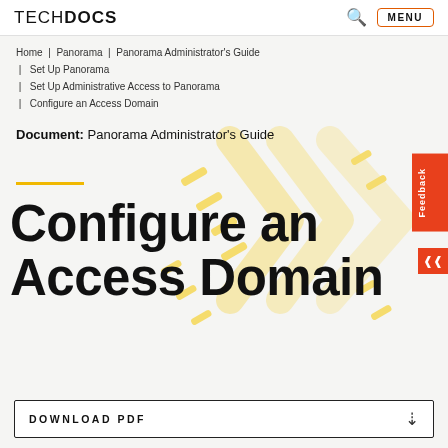TechDocs   MENU
Home | Panorama | Panorama Administrator's Guide | Set Up Panorama | Set Up Administrative Access to Panorama | Configure an Access Domain
Document: Panorama Administrator's Guide
Configure an Access Domain
DOWNLOAD PDF